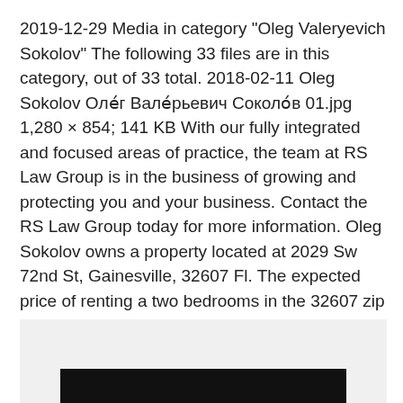2019-12-29 Media in category "Oleg Valeryevich Sokolov" The following 33 files are in this category, out of 33 total. 2018-02-11 Oleg Sokolov Оле́г Вале́рьевич Соколо́в 01.jpg 1,280 × 854; 141 KB With our fully integrated and focused areas of practice, the team at RS Law Group is in the business of growing and protecting you and your business. Contact the RS Law Group today for more information. Oleg Sokolov owns a property located at 2029 Sw 72nd St, Gainesville, 32607 Fl. The expected price of renting a two bedrooms in the 32607 zip code is $1,020/month. Property Ownership.
[Figure (photo): Partially visible image area with dark/black bar at the bottom, light gray background]